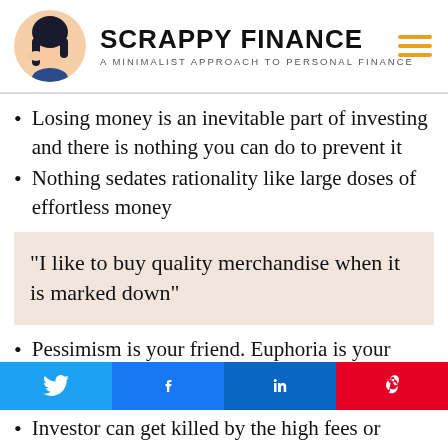SCRAPPY FINANCE — A MINIMALIST APPROACH TO PERSONAL FINANCE
Losing money is an inevitable part of investing and there is nothing you can do to prevent it
Nothing sedates rationality like large doses of effortless money
"I like to buy quality merchandise when it is marked down"
Pessimism is your friend. Euphoria is your enemy
Investor can get killed by the high fees or